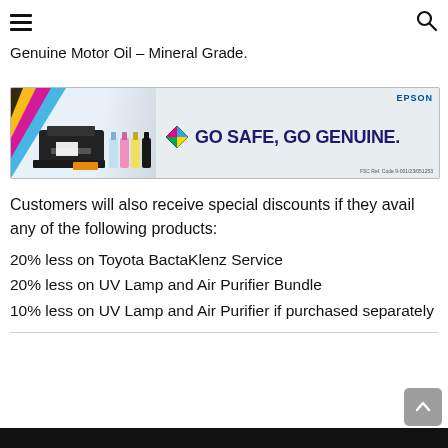Navigation header with hamburger menu and search icon
Genuine Motor Oil – Mineral Grade.
[Figure (infographic): Epson advertisement banner: 'GO SAFE, GO GENUINE.' with printer and ink bottle images, Epson logo, and FSC reference code]
Customers will also receive special discounts if they avail any of the following products:
20% less on Toyota BactaKlenz Service
20% less on UV Lamp and Air Purifier Bundle
10% less on UV Lamp and Air Purifier if purchased separately